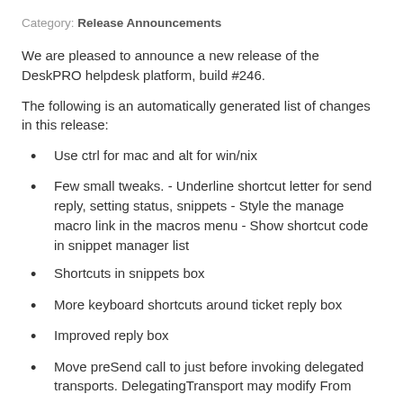Category: Release Announcements
We are pleased to announce a new release of the DeskPRO helpdesk platform, build #246.
The following is an automatically generated list of changes in this release:
Use ctrl for mac and alt for win/nix
Few small tweaks. - Underline shortcut letter for send reply, setting status, snippets - Style the manage macro link in the macros menu - Show shortcut code in snippet manager list
Shortcuts in snippets box
More keyboard shortcuts around ticket reply box
Improved reply box
Move preSend call to just before invoking delegated transports. DelegatingTransport may modify From